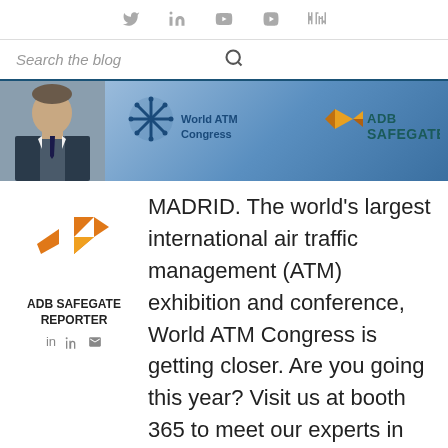Social icons: Twitter, LinkedIn, YouTube, Vimeo, RSS
Search the blog
[Figure (photo): Banner image showing a man's photo on the left, World ATM Congress logo in the center, and ADB Safegate logo on the right, with a blue gradient background]
[Figure (logo): ADB Safegate logo in orange/gold arrow star shape]
ADB SAFEGATE REPORTER
MADRID. The world’s largest international air traffic management (ATM) exhibition and conference, World ATM Congress is getting closer. Are you going this year? Visit us at booth 365 to meet our experts in integrated tower solutions and airport